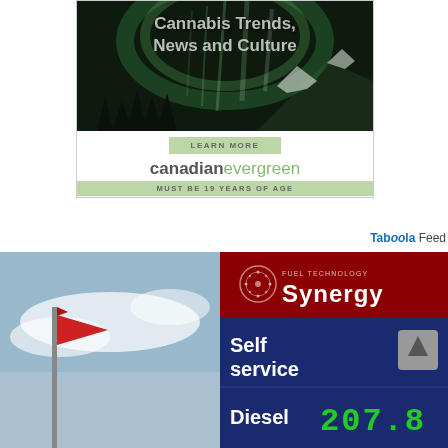[Figure (photo): Advertisement banner for canadianevergreen.com featuring northern lights (aurora borealis) background image with headline 'Cannabis Trends, News and Culture', a 'LEARN MORE' button, brand name 'canadianevergreen', and age restriction notice 'MUST BE 19 YEARS OF AGE']
[Figure (logo): Taboola Feed logo with text 'Taboola Feed' in blue and grey]
[Figure (photo): Bottom left: photo of a red sign/flag against a cloudy sky. Bottom right: Esso Synergy Fuel Technology gas station display showing 'Self service' and 'Diesel' price panels with green digits showing 207.8]